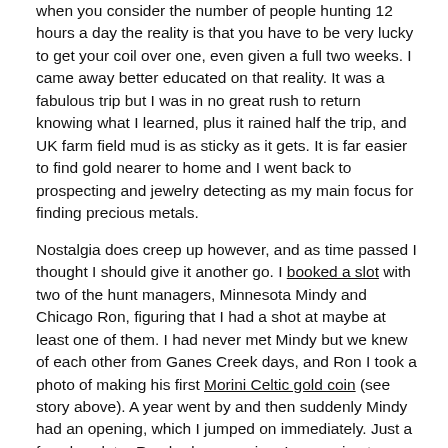when you consider the number of people hunting 12 hours a day the reality is that you have to be very lucky to get your coil over one, even given a full two weeks. I came away better educated on that reality. It was a fabulous trip but I was in no great rush to return knowing what I learned, plus it rained half the trip, and UK farm field mud is as sticky as it gets. It is far easier to find gold nearer to home and I went back to prospecting and jewelry detecting as my main focus for finding precious metals.
Nostalgia does creep up however, and as time passed I thought I should give it another go. I booked a slot with two of the hunt managers, Minnesota Mindy and Chicago Ron, figuring that I had a shot at maybe at least one of them. I had never met Mindy but we knew of each other from Ganes Creek days, and Ron I took a photo of making his first Morini Celtic gold coin (see story above). A year went by and then suddenly Mindy had an opening, which I jumped on immediately. Just a few days later Ron had an opening. I was going to decline, then saw by some miracle his week started when Mindy's ten days ended. I really hate making trips of any magnitude for less than two weeks. This is low odds stuff and the costs also do not justify short hunts in my mind. I booked with Ron also and suddenly had seventeen days in England, running from October 2018. Ending up at the